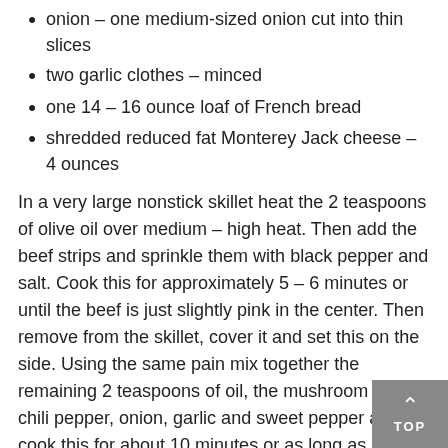onion – one medium-sized onion cut into thin slices
two garlic clothes – minced
one 14 – 16 ounce loaf of French bread
shredded reduced fat Monterey Jack cheese – 4 ounces
In a very large nonstick skillet heat the 2 teaspoons of olive oil over medium – high heat. Then add the beef strips and sprinkle them with black pepper and salt. Cook this for approximately 5 – 6 minutes or until the beef is just slightly pink in the center. Then remove from the skillet, cover it and set this on the side. Using the same pain mix together the remaining 2 teaspoons of oil, the mushroom strips, chili pepper, onion, garlic and sweet pepper and cook this for about 10 minutes or as long as it takes for the vegetables to become tender. Make sure that you stir this to keep everything heated all the way through. You want to preheat your